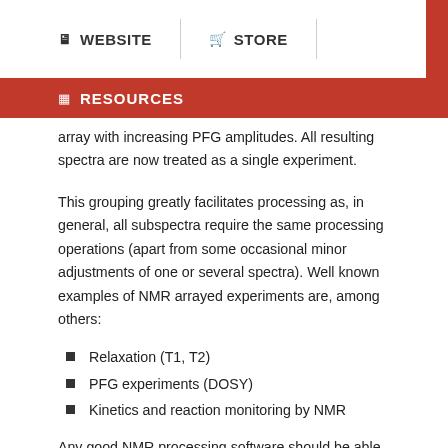WEBSITE  STORE
RESOURCES
array with increasing PFG amplitudes. All resulting spectra are now treated as a single experiment.
This grouping greatly facilitates processing as, in general, all subspectra require the same processing operations (apart from some occasional minor adjustments of one or several spectra). Well known examples of NMR arrayed experiments are, among others:
Relaxation (T1, T2)
PFG experiments (DOSY)
Kinetics and reaction monitoring by NMR
Any good NMR processing software should be able to automatically recognize when an NMR spectrum is an arrayed experiment and will setup all processing operations accordingly.